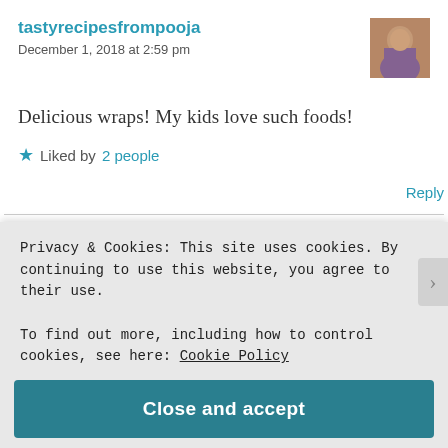tastyrecipesfrompooja
December 1, 2018 at 2:59 pm
[Figure (photo): User avatar photo of a person]
Delicious wraps! My kids love such foods!
★ Liked by 2 people
Reply
Privacy & Cookies: This site uses cookies. By continuing to use this website, you agree to their use.
To find out more, including how to control cookies, see here: Cookie Policy
Close and accept